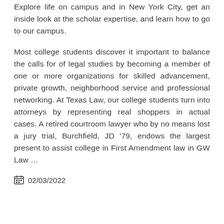Explore life on campus and in New York City, get an inside look at the scholar expertise, and learn how to go to our campus.
Most college students discover it important to balance the calls for of legal studies by becoming a member of one or more organizations for skilled advancement, private growth, neighborhood service and professional networking. At Texas Law, our college students turn into attorneys by representing real shoppers in actual cases. A retired courtroom lawyer who by no means lost a jury trial, Burchfield, JD '79, endows the largest present to assist college in First Amendment law in GW Law …
📅 02/03/2022